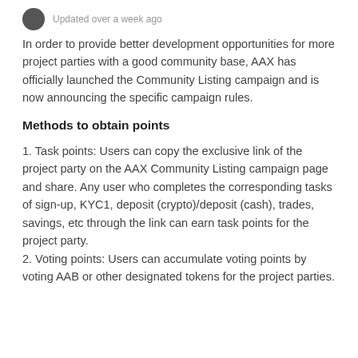Updated over a week ago
In order to provide better development opportunities for more project parties with a good community base, AAX has officially launched the Community Listing campaign and is now announcing the specific campaign rules.
Methods to obtain points
1. Task points: Users can copy the exclusive link of the project party on the AAX Community Listing campaign page and share. Any user who completes the corresponding tasks of sign-up, KYC1, deposit (crypto)/deposit (cash), trades, savings, etc through the link can earn task points for the project party.
2. Voting points: Users can accumulate voting points by voting AAB or other designated tokens for the project parties.